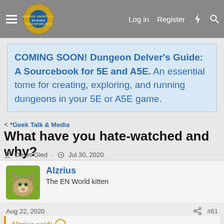Morrus' Unofficial Tabletop RPG News — Log in  Register
COMING SOON! Dungeon Delver's Guide: A Sourcebook for 5E and A5E. An essential tome for creating, exploring, and running dungeons in your 5E or A5E game.
< *Geek Talk & Media
What have you hate-watched and why?
Deset Gled · Jul 30, 2020
Alzrius
The EN World kitten
Aug 22, 2020  #61
Alzrius said: ↑